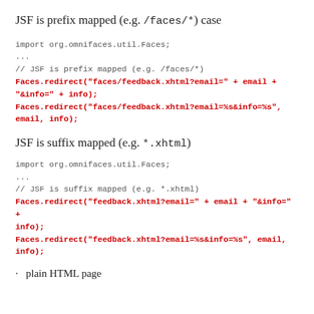JSF is prefix mapped (e.g. /faces/*) case
import org.omnifaces.util.Faces;
...
// JSF is prefix mapped (e.g. /faces/*)
Faces.redirect("faces/feedback.xhtml?email=" + email + "&info=" + info);
Faces.redirect("faces/feedback.xhtml?email=%s&info=%s", email, info);
JSF is suffix mapped (e.g. *.xhtml)
import org.omnifaces.util.Faces;
...
// JSF is suffix mapped (e.g. *.xhtml)
Faces.redirect("feedback.xhtml?email=" + email + "&info=" + info);
Faces.redirect("feedback.xhtml?email=%s&info=%s", email, info);
· plain HTML page